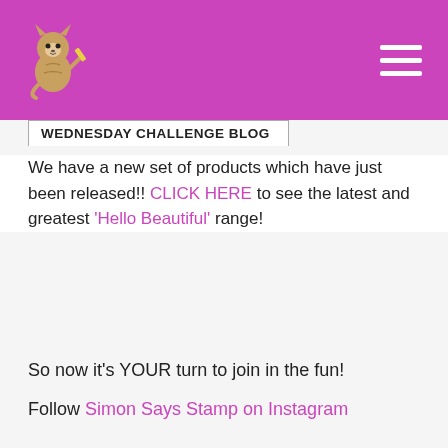[Figure (logo): Simon Says Stamp logo with illustrated cat/dog character holding something, on magenta/pink header bar with hamburger menu icon]
WEDNESDAY CHALLENGE BLOG
We have a new set of products which have just been released!! CLICK HERE to see the latest and greatest 'Hello Beautiful' range!
So now it's YOUR turn to join in the fun!
Follow Simon Says Stamp on Instagram